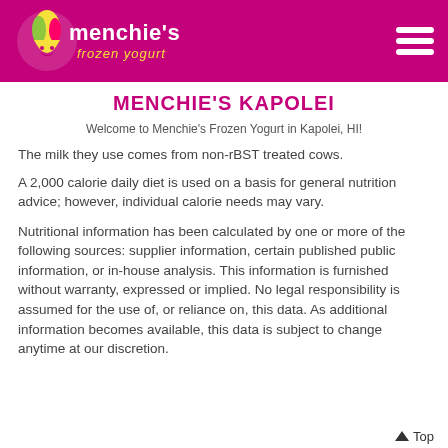Menchie's Frozen Yogurt — Menchie's Kapolei
MENCHIE'S KAPOLEI
Welcome to Menchie's Frozen Yogurt in Kapolei, HI!
The milk they use comes from non-rBST treated cows.
A 2,000 calorie daily diet is used on a basis for general nutrition advice; however, individual calorie needs may vary.
Nutritional information has been calculated by one or more of the following sources: supplier information, certain published public information, or in-house analysis. This information is furnished without warranty, expressed or implied. No legal responsibility is assumed for the use of, or reliance on, this data. As additional information becomes available, this data is subject to change anytime at our discretion.